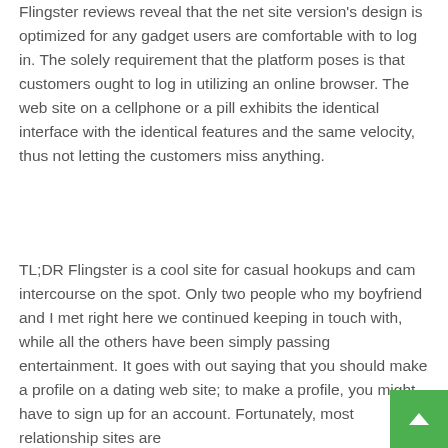Flingster reviews reveal that the net site version's design is optimized for any gadget users are comfortable with to log in. The solely requirement that the platform poses is that customers ought to log in utilizing an online browser. The web site on a cellphone or a pill exhibits the identical interface with the identical features and the same velocity, thus not letting the customers miss anything.
TL;DR Flingster is a cool site for casual hookups and cam intercourse on the spot. Only two people who my boyfriend and I met right here we continued keeping in touch with, while all the others have been simply passing entertainment. It goes with out saying that you should make a profile on a dating web site; to make a profile, you might have to sign up for an account. Fortunately, most relationship sites are